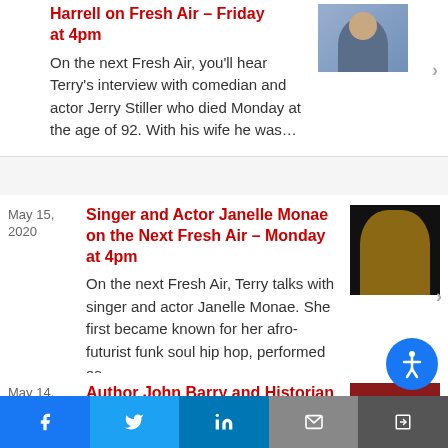Harrell on Fresh Air – Friday at 4pm
On the next Fresh Air, you'll hear Terry's interview with comedian and actor Jerry Stiller who died Monday at the age of 92. With his wife he was...
May 15, 2020
Singer and Actor Janelle Monae on the Next Fresh Air – Monday at 4pm
On the next Fresh Air, Terry talks with singer and actor Janelle Monae. She first became known for her afro-futurist funk soul hip hop, performed as...
May 14, 2020
Author John Barry and Historian Ian Whitcomb on Fresh Air – Thursday at 4pm
On the next Fresh Air, what...
Facebook | Twitter | LinkedIn | Email | Share